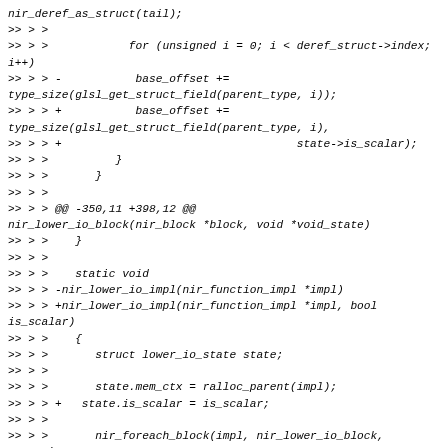nir_deref_as_struct(tail);
>> > >
>> > >            for (unsigned i = 0; i < deref_struct->index; i++)
>> > > -           base_offset +=
type_size(glsl_get_struct_field(parent_type, i));
>> > > +           base_offset +=
type_size(glsl_get_struct_field(parent_type, i),
>> > > +                                   state->is_scalar);
>> > >          }
>> > >       }
>> > >
>> > > @@ -350,11 +398,12 @@
nir_lower_io_block(nir_block *block, void *void_state)
>> > >    }
>> > >
>> > >    static void
>> > > -nir_lower_io_impl(nir_function_impl *impl)
>> > > +nir_lower_io_impl(nir_function_impl *impl, bool
is_scalar)
>> > >    {
>> > >       struct lower_io_state state;
>> > >
>> > >       state.mem_ctx = ralloc_parent(impl);
>> > > +   state.is_scalar = is_scalar;
>> > >
>> > >       nir_foreach_block(impl, nir_lower_io_block,
&state);
>> > >
>> > > @@ -363,10 +412,10 @@